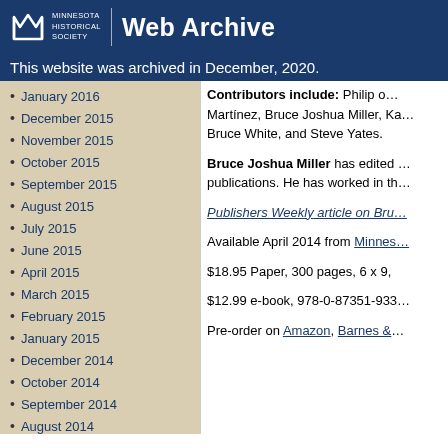Minnesota Historical Society Web Archive
This website was archived in December, 2020.
January 2016
December 2015
November 2015
October 2015
September 2015
August 2015
July 2015
June 2015
April 2015
March 2015
February 2015
January 2015
December 2014
October 2014
September 2014
August 2014
June 2014
Contributors include: Philip o… Martínez, Bruce Joshua Miller, Ka… Bruce White, and Steve Yates.
Bruce Joshua Miller has edited … publications. He has worked in th…
Publishers Weekly article on Bru…
Available April 2014 from Minnes…
$18.95 Paper, 300 pages, 6 x 9,
$12.99 e-book, 978-0-87351-933…
Pre-order on Amazon, Barnes &…